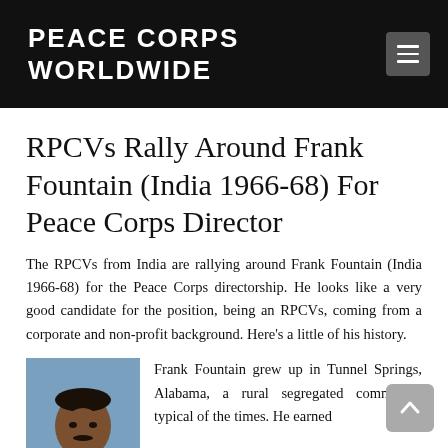PEACE CORPS WORLDWIDE
RPCVs Rally Around Frank Fountain (India 1966-68) For Peace Corps Director
The RPCVs from India are rallying around Frank Fountain (India 1966-68) for the Peace Corps directorship. He looks like a very good candidate for the position, being an RPCVs, coming from a corporate and non-profit background. Here's a little of his history.
[Figure (photo): Headshot portrait of Frank Fountain, an African-American man with a mustache wearing a suit, against a blue background.]
Frank Fountain grew up in Tunnel Springs, Alabama, a rural segregated community typical of the times. He earned